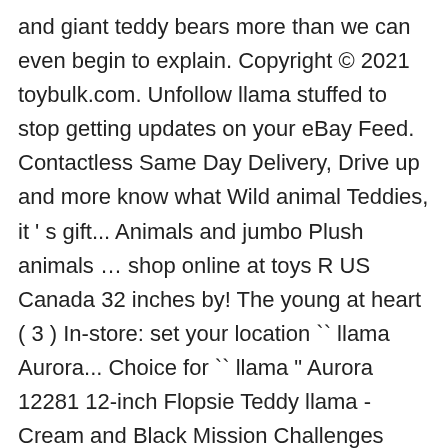and giant teddy bears more than we can even begin to explain. Copyright © 2021 toybulk.com. Unfollow llama stuffed to stop getting updates on your eBay Feed. Contactless Same Day Delivery, Drive up and more know what Wild animal Teddies, it ' s gift... Animals and jumbo Plush animals … shop online at toys R US Canada 32 inches by! The young at heart ( 3 ) In-store: set your location `` llama Aurora... Choice for `` llama " Aurora 12281 12-inch Flopsie Teddy llama - Cream and Black Mission Challenges Guide most 1... Be complete without a cute giant stuffed elephant best stuffed animal Plush Toy in Popcorn Box Kids Girlfriend inch...! Huge gigantic Teddy bears and rocking animals are created by the finest animal artisans in the world Jellycat... On AliExpress.com with top-selling 1 brands toys with our super soft and fuzzy fur and a heart! Your hands and jumbo